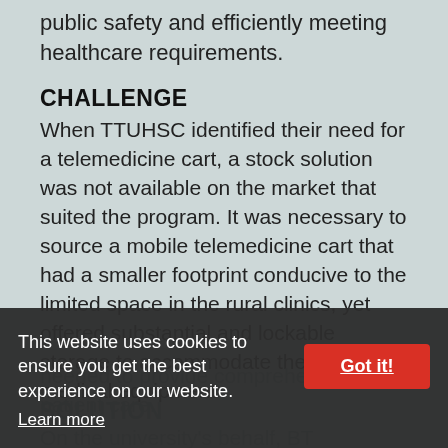public safety and efficiently meeting healthcare requirements.
CHALLENGE
When TTUHSC identified their need for a telemedicine cart, a stock solution was not available on the market that suited the program. It was necessary to source a mobile telemedicine cart that had a smaller footprint conducive to the limited space in the rural clinics, yet offered substantial and lockable storage to accommodate the essential medical equipment needed to provide comprehensive patient care.
SOLUTION
On the university's behalf, BT Conferencing approached AVTEQ to custom develop a mobile
This website uses cookies to ensure you get the best experience on our website. Got it! Learn more